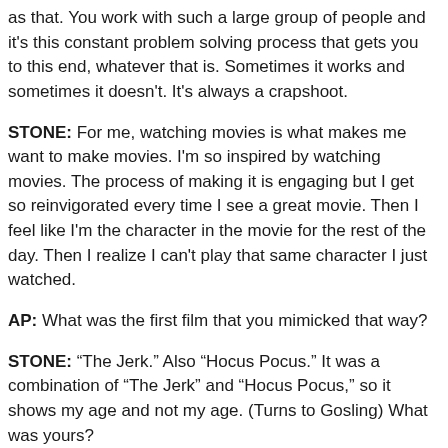as that. You work with such a large group of people and it's this constant problem solving process that gets you to this end, whatever that is. Sometimes it works and sometimes it doesn't. It's always a crapshoot.
STONE: For me, watching movies is what makes me want to make movies. I'm so inspired by watching movies. The process of making it is engaging but I get so reinvigorated every time I see a great movie. Then I feel like I'm the character in the movie for the rest of the day. Then I realize I can't play that same character I just watched.
AP: What was the first film that you mimicked that way?
STONE: “The Jerk.” Also “Hocus Pocus.” It was a combination of “The Jerk” and “Hocus Pocus,” so it shows my age and not my age. (Turns to Gosling) What was yours?
GOSLING: “Hocus Pocus.”